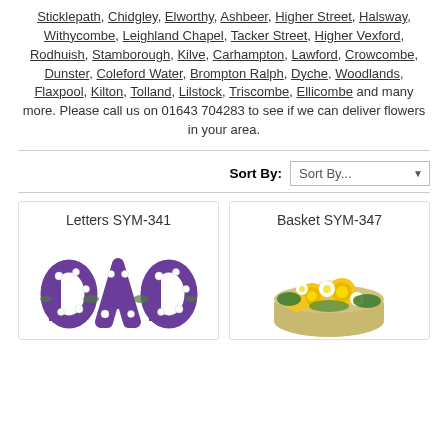Sticklepath, Chidgley, Elworthy, Ashbeer, Higher Street, Halsway, Withycombe, Leighland Chapel, Tacker Street, Higher Vexford, Rodhuish, Stamborough, Kilve, Carhampton, Lawford, Crowcombe, Dunster, Coleford Water, Brompton Ralph, Dyche, Woodlands, Flaxpool, Kilton, Tolland, Lilstock, Triscombe, Ellicombe and many more. Please call us on 01643 704283 to see if we can deliver flowers in your area.
Sort By: Sort By...
Letters SYM-341
[Figure (photo): Floral letter arrangement spelling DAD in purple and white flowers]
Basket SYM-347
[Figure (photo): Flower basket arrangement with yellow roses and white flowers with a white handle]